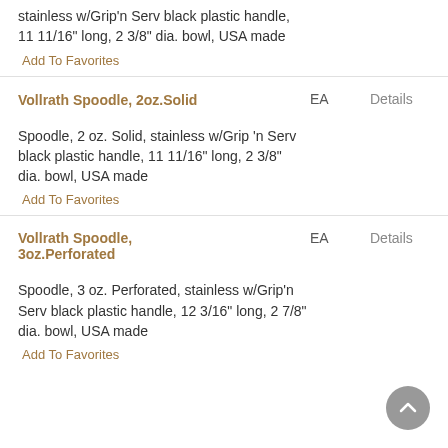stainless w/Grip'n Serv black plastic handle, 11 11/16" long, 2 3/8" dia. bowl, USA made
Add To Favorites
Vollrath Spoodle, 2oz.Solid
EA
Details
Spoodle, 2 oz. Solid, stainless w/Grip 'n Serv black plastic handle, 11 11/16" long, 2 3/8" dia. bowl, USA made
Add To Favorites
Vollrath Spoodle, 3oz.Perforated
EA
Details
Spoodle, 3 oz. Perforated, stainless w/Grip'n Serv black plastic handle, 12 3/16" long, 2 7/8" dia. bowl, USA made
Add To Favorites